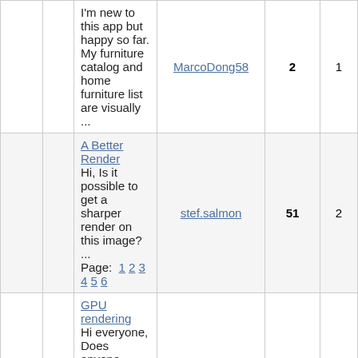|  |  | Topic | User | Replies | Views |
| --- | --- | --- | --- | --- | --- |
|  |  | I'm new to this app but happy so far. My furniture catalog and home furniture list are visually ... | MarcoDong58 | 2 | 1 |
|  |  | A Better Render
Hi, Is it possible to get a sharper render on this image? ...
Page: 1 2 3 4 5 6 | stef.salmon | 51 | 2 |
|  |  | GPU rendering
Hi everyone, Does anyone know, if Sweet Home 3D can utilise a GPU to du the rendering much ... | svedel77 | 6 | 7 |
|  |  | An challenge, an exercise, achance to show off your creativity?
I see people often post fantasy buildings, or buildings that have almost no constraints on huge ... | sjb007 | 2 | 2 |
|  |  | Realtime Walktrough Litterbug-Den
... | 3D_Penguin | 0 | 1 |
|  |  | Christmas tree not lighting up
Hello and Marry Christmas! Unfortunately this year I was unable to setup my Christmas tree, so I ... | Daniels118 | 1 | 2 |